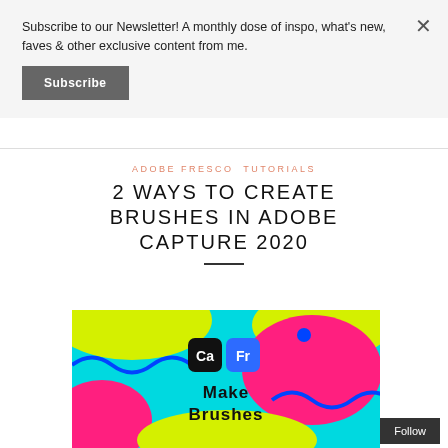Subscribe to our Newsletter! A monthly dose of inspo, what's new, faves & other exclusive content from me.
Subscribe
ADOBE FRESCO  TUTORIALS
2 WAYS TO CREATE BRUSHES IN ADOBE CAPTURE 2020
[Figure (illustration): Colorful abstract illustration with cyan, yellow, pink and blue shapes; Adobe Capture (Ca) and Adobe Fresco (Fr) app icons; text reading 'Make Brushes']